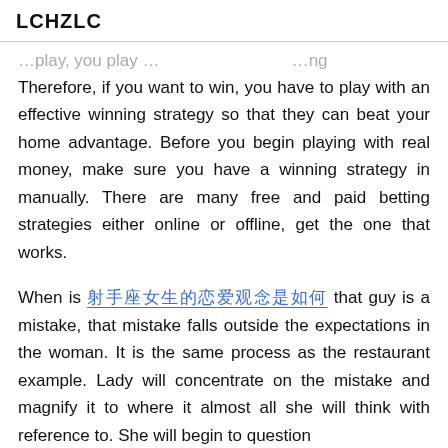LCHZLC
Therefore, if you want to win, you have to play with an effective winning strategy so that they can beat your home advantage. Before you begin playing with real money, make sure you have a winning strategy in manually. There are many free and paid betting strategies either online or offline, get the one that works.
When is [link text] that guy is a mistake, that mistake falls outside the expectations in the woman. It is the same process as the restaurant example. Lady will concentrate on the mistake and magnify it to where it almost all she will think with reference to. She will begin to question merely the nice guy's actions but the relationship to...